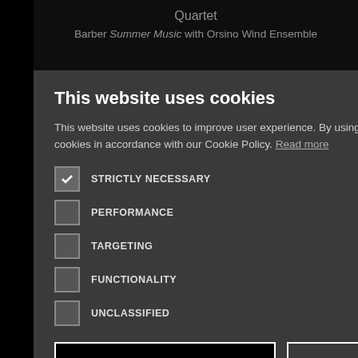[Figure (screenshot): Dark website background showing music concert listings with text: Quartet, Barber Summer Music with Orsino Wind Ensemble, and partial text fragments visible behind a cookie consent modal dialog.]
This website uses cookies
This website uses cookies to improve user experience. By using our website you consent to all cookies in accordance with our Cookie Policy. Read more
STRICTLY NECESSARY (checked)
PERFORMANCE
TARGETING
FUNCTIONALITY
UNCLASSIFIED
ACCEPT ALL
DECLINE ALL
SHOW DETAILS